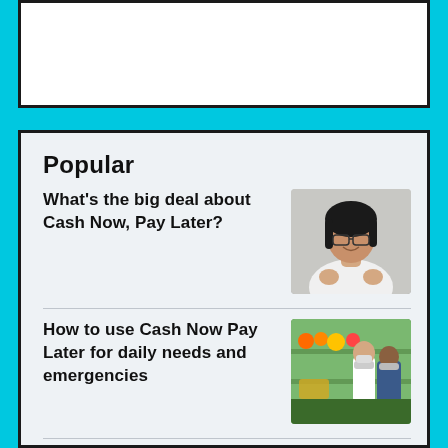Popular
What’s the big deal about Cash Now, Pay Later?
[Figure (photo): Woman with glasses smiling and gesturing with hands, wearing a white shirt, against a light gray background]
How to use Cash Now Pay Later for daily needs and emergencies
[Figure (photo): People wearing face masks shopping at a grocery store with produce, one person in a plaid shirt]
Cash Now Pay Later: All the dos and don’ts of
[Figure (photo): Two women in a clothing store, standing near hanging clothes]